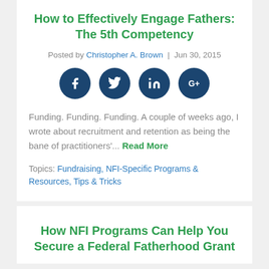How to Effectively Engage Fathers: The 5th Competency
Posted by Christopher A. Brown | Jun 30, 2015
[Figure (infographic): Four social media share icons: Facebook, Twitter, LinkedIn, Google+]
Funding. Funding. Funding. A couple of weeks ago, I wrote about recruitment and retention as being the bane of practitioners'... Read More
Topics: Fundraising, NFI-Specific Programs & Resources, Tips & Tricks
How NFI Programs Can Help You Secure a Federal Fatherhood Grant